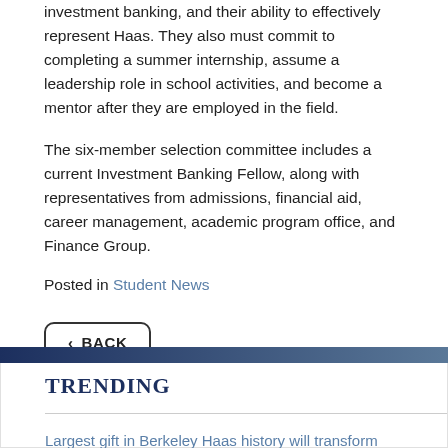investment banking, and their ability to effectively represent Haas. They also must commit to completing a summer internship, assume a leadership role in school activities, and become a mentor after they are employed in the field.
The six-member selection committee includes a current Investment Banking Fellow, along with representatives from admissions, financial aid, career management, academic program office, and Finance Group.
Posted in Student News
< BACK
TRENDING
Largest gift in Berkeley Haas history will transform undergraduate business program from two to four